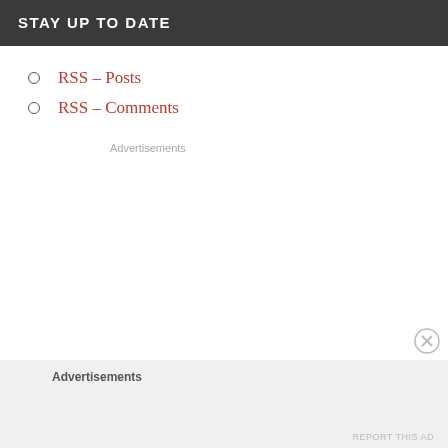STAY UP TO DATE
RSS - Posts
RSS - Comments
Advertisements
Advertisements
REPORT THIS AD